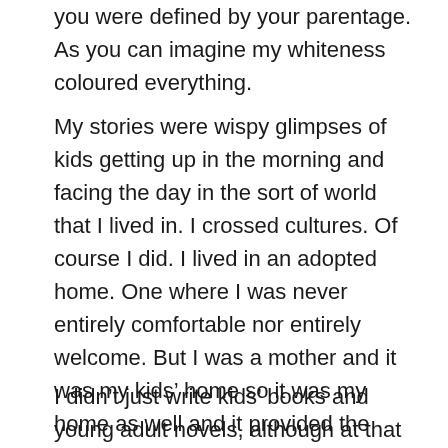you were defined by your parentage. As you can imagine my whiteness coloured everything.
My stories were wispy glimpses of kids getting up in the morning and facing the day in the sort of world that I lived in. I crossed cultures. Of course I did. I lived in an adopted home. One where I was never entirely comfortable nor entirely welcome. But I was a mother and it was my kids' home so it was my home as well and it provided the window from which I observed the world.
I didn't just write kids' books and young adult novels, although at that time they were my